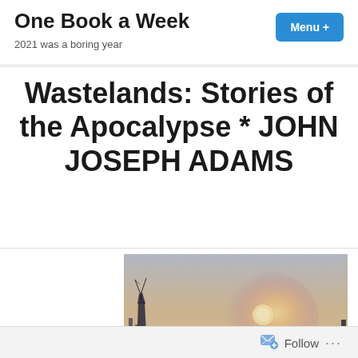One Book a Week
2021 was a boring year
Wastelands: Stories of the Apocalypse * JOHN JOSEPH ADAMS
[Figure (photo): A post-apocalyptic cityscape at sunset showing ruined skyscrapers silhouetted against a hazy orange-pink sky with a dim sun visible through the fog and dust.]
Follow ...